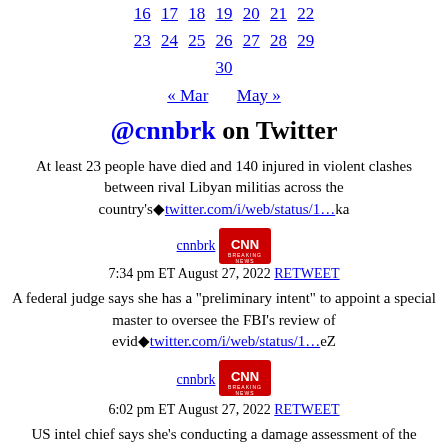16 17 18 19 20 21 22
23 24 25 26 27 28 29
30
« Mar   May »
@cnnbrk on Twitter
At least 23 people have died and 140 injured in violent clashes between rival Libyan militias across the country's◆twitter.com/i/web/status/1…ka
cnnbrk  7:34 pm ET August 27, 2022 RETWEET
A federal judge says she has a "preliminary intent" to appoint a special master to oversee the FBI's review of evid◆twitter.com/i/web/status/1…eZ
cnnbrk  6:02 pm ET August 27, 2022 RETWEET
US intel chief says she's conducting a damage assessment of the materials taken from Trump's home in Mar-a-Lago, le◆twitter.com/i/web/status/1…RM
cnnbrk